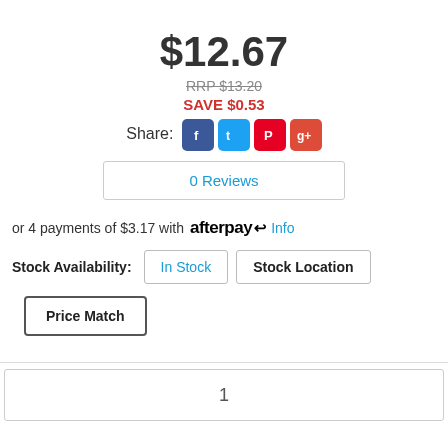$12.67
RRP $13.20
SAVE $0.53
Share: [Facebook] [Twitter] [Pinterest] [Google+]
0 Reviews
or 4 payments of $3.17 with afterpay Info
Stock Availability: In Stock  Stock Location
Price Match
1